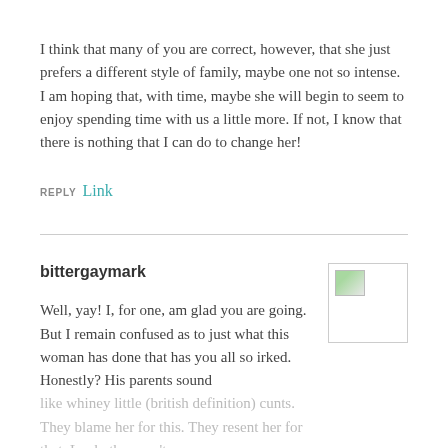I think that many of you are correct, however, that she just prefers a different style of family, maybe one not so intense. I am hoping that, with time, maybe she will begin to seem to enjoy spending time with us a little more. If not, I know that there is nothing that I can do to change her!
REPLY Link
bittergaymark
Well, yay! I, for one, am glad you are going. But I remain confused as to just what this woman has done that has you all so irked. Honestly? His parents sound like whiney little (british definition) cunts. They blame her for this. They resent her for that. Look, they can't